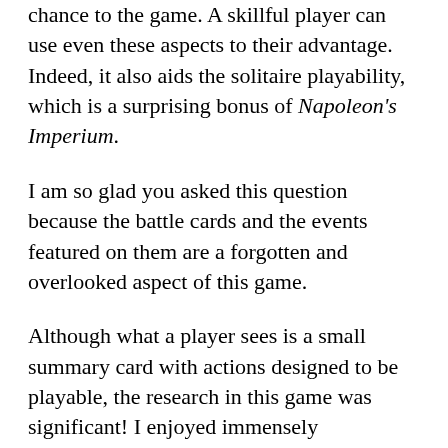chance to the game. A skillful player can use even these aspects to their advantage. Indeed, it also aids the solitaire playability, which is a surprising bonus of Napoleon's Imperium.
I am so glad you asked this question because the battle cards and the events featured on them are a forgotten and overlooked aspect of this game.
Although what a player sees is a small summary card with actions designed to be playable, the research in this game was significant! I enjoyed immensely researching all the events featured in the Battle Cards over many years, as each has its story to tell. And the artwork, just beautiful!
Certainly this game's graphic design and artistic